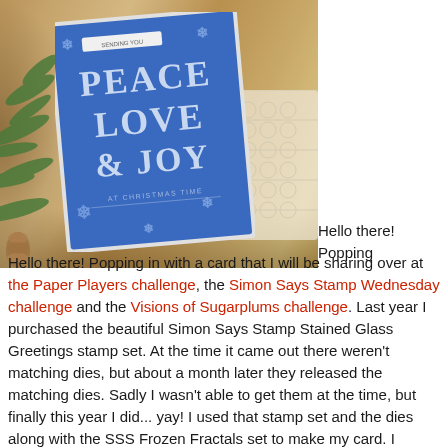[Figure (photo): A blue Christmas card reading PEACE LOVE & JOY lying on a wooden surface surrounded by pine branches and lace, photographed from above at an angle.]
Hello there!  Popping in with a card that I will be sharing over at the Paper Players challenge, the Simon Says Stamp Wednesday challenge and the Visions of Sugarplums challenge.   Last year I purchased the beautiful Simon Says Stamp Stained Glass Greetings stamp set.  At the time it came out there weren't matching dies, but about a month later they released the matching dies.   Sadly I wasn't able to get them at the time, but finally this year I did... yay!  I used that stamp set and the dies along with the SSS Frozen Fractals set to make my card.  I stamped all the snowflakes on white cardstock with VersaMark watermark ink, applied clear embossing powder